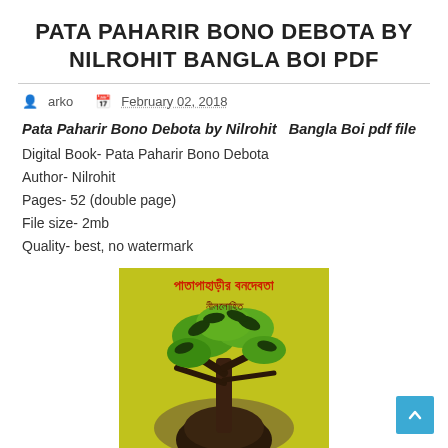PATA PAHARIR BONO DEBOTA BY NILROHIT BANGLA BOI PDF
arko   February 02, 2018
Pata Paharir Bono Debota by Nilrohit   Bangla Boi pdf file
Digital Book- Pata Paharir Bono Debota
Author- Nilrohit
Pages- 52 (double page)
File size- 2mb
Quality- best, no watermark
[Figure (illustration): Book cover of Pata Paharir Bono Debota showing a green tree with dark leaves growing above a dark human face/head, on a yellow-green background with Bengali text (পাতাপাহাড়ীর বনদেবতা and নীললোহিত)]